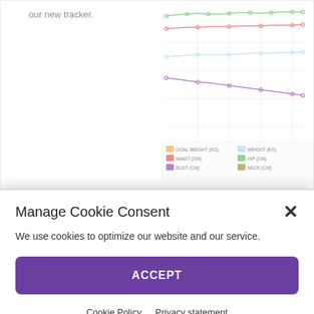our new tracker.
[Figure (line-chart): Multi-line chart showing body measurement trends over time. Lines shown for Goal Weight (KG), Weight (KG), Waist (CM), Hip (CM), Bust (CM), Neck (CM). All lines trend downward from left to right. Colors: orange/yellow for Goal Weight, light blue for Weight, red for Waist, green for Hip, purple for Bust, olive/dark yellow for Neck.]
Manage Cookie Consent
We use cookies to optimize our website and our service.
ACCEPT
Cookie Policy
Privacy statement